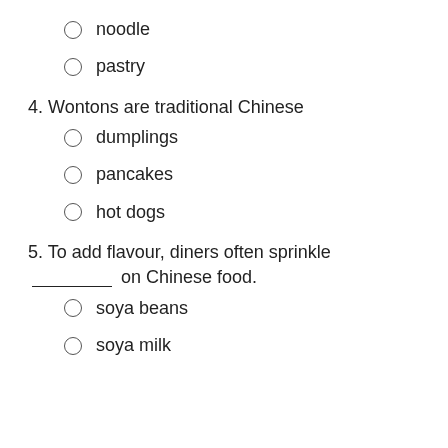○ noodle
○ pastry
4. Wontons are traditional Chinese
○ dumplings
○ pancakes
○ hot dogs
5. To add flavour, diners often sprinkle ________ on Chinese food.
○ soya beans
○ soya milk